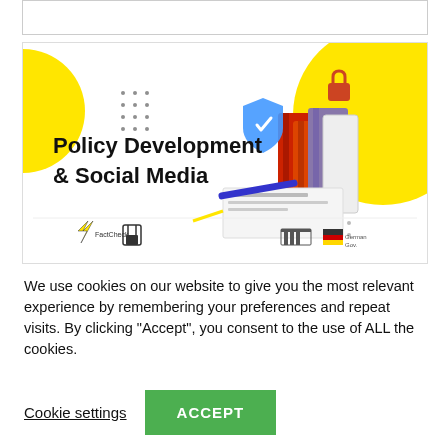[Figure (illustration): Banner image for Policy Development & Social Media showing stacked binders, documents, a shield icon, and organizational logos on a yellow and white background]
We use cookies on our website to give you the most relevant experience by remembering your preferences and repeat visits. By clicking “Accept”, you consent to the use of ALL the cookies.
Cookie settings
ACCEPT